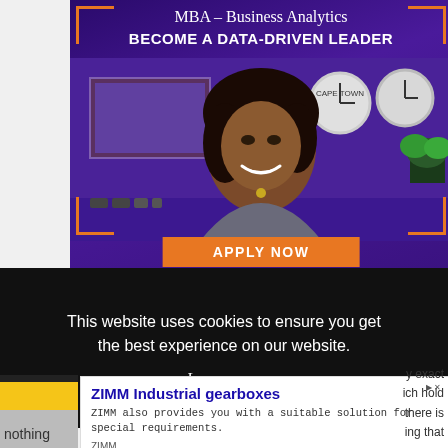[Figure (illustration): MBA Business Analytics advertisement banner with purple background, woman smiling, orange corner borders, text 'MBA – Business Analytics BECOME A DATA-DRIVEN LEADER' and orange 'APPLY NOW' button]
This website uses cookies to ensure you get the best experience on our website.
Learn more
[Figure (illustration): ZIMM Industrial gearboxes advertisement with title 'ZIMM Industrial gearboxes', description text, ZIMM source label, and blue Open button]
nothing
y exact ich hold there is ing that